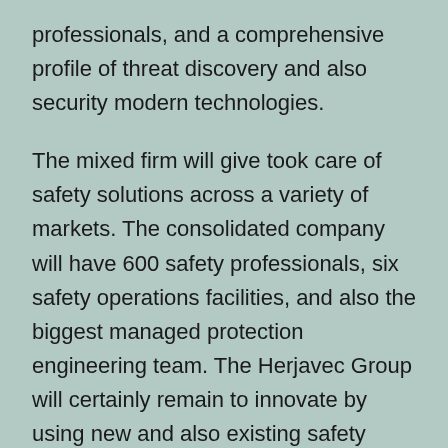professionals, and a comprehensive profile of threat discovery and also security modern technologies.
The mixed firm will give took care of safety solutions across a variety of markets. The consolidated company will have 600 safety professionals, six safety operations facilities, and also the biggest managed protection engineering team. The Herjavec Group will certainly remain to innovate by using new and also existing safety services for the venture. To fulfill the protection demands of clients, the business combines its industry-leading